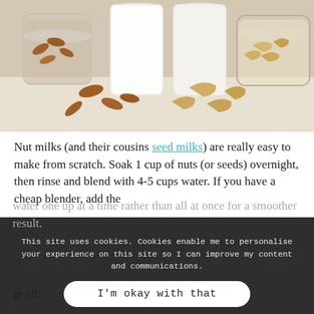[Figure (photo): Photo of almonds, cashews, and jars of nut milk on a white surface]
Nut milks (and their cousins seed milks) are really easy to make from scratch. Soak 1 cup of nuts (or seeds) overnight, then rinse and blend with 4-5 cups water. If you have a cheap blender, add the water one up at a time rather than all at once for a smoother result.
This site uses cookies. Cookies enable me to personalise your experience on this site so I can improve my content and communications.
I'm okay with that
With some nuts, like almonds, you might like to strain (I use [nut milk bag]) is a lot of pulp. Other nuts like cashews don't need straining at all.